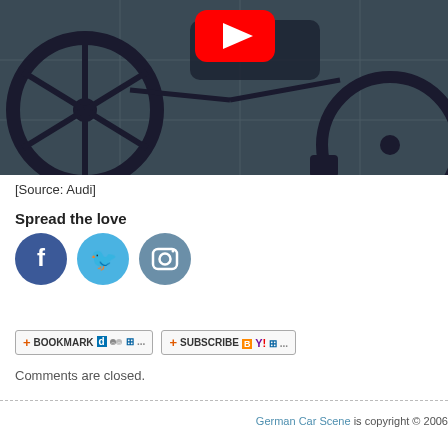[Figure (screenshot): YouTube video thumbnail showing a bicycle with large carbon-fiber wheels in front of a wall, with a red YouTube play button overlay in the upper center area.]
[Source: Audi]
Spread the love
[Figure (infographic): Three social media icon buttons: Facebook (dark blue circle with f), Twitter (light blue circle with bird icon), Instagram (steel blue circle with camera icon)]
[Figure (infographic): Bookmark and Subscribe buttons with small colorful service icons (Delicious, del.icio.us people icon, Windows, ellipsis; Bloglines, Yahoo, Windows, ellipsis)]
Comments are closed.
German Car Scene is copyright © 2006